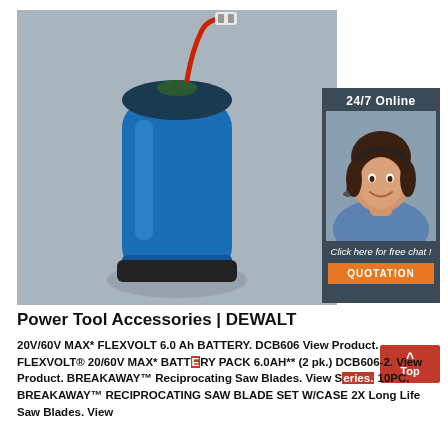[Figure (photo): Photo of a blue cylindrical battery pack with a red wire and white connector on top, on a gray background. Overlaid with a 24/7 Online chat widget showing a customer service woman with a headset, with text 'Click here for free chat!' and an orange QUOTATION button.]
Power Tool Accessories | DEWALT
20V/60V MAX* FLEXVOLT 6.0 Ah BATTERY. DCB606 View Product. FLEXVOLT® 20/60V MAX* BATTERY PACK 6.0AH** (2 pk.) DCB606-2. View Product. BREAKAWAY™ Reciprocating Saw Blades. View Series. 10PC. BREAKAWAY™ RECIPROCATING SAW BLADE SET W/CASE 2X Long Life Saw Blades. View